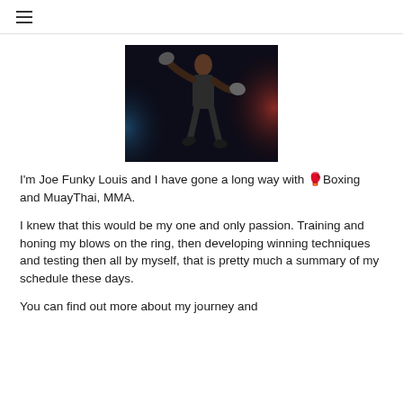≡
[Figure (photo): A male fighter/martial artist in dark athletic wear with boxing gloves, posed dynamically against a dark background with red and blue lighting smoke effects.]
I'm Joe Funky Louis and I have gone a long way with 🥊Boxing and MuayThai, MMA.
I knew that this would be my one and only passion. Training and honing my blows on the ring, then developing winning techniques and testing then all by myself, that is pretty much a summary of my schedule these days.
You can find out more about my journey and